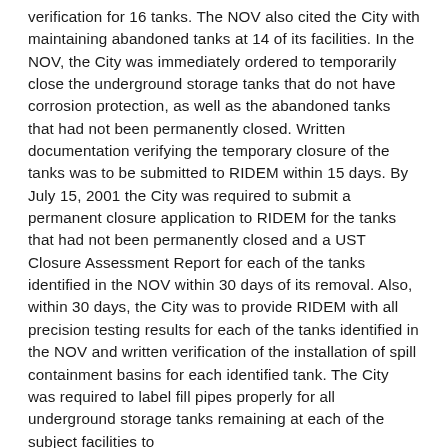verification for 16 tanks. The NOV also cited the City with maintaining abandoned tanks at 14 of its facilities. In the NOV, the City was immediately ordered to temporarily close the underground storage tanks that do not have corrosion protection, as well as the abandoned tanks that had not been permanently closed. Written documentation verifying the temporary closure of the tanks was to be submitted to RIDEM within 15 days. By July 15, 2001 the City was required to submit a permanent closure application to RIDEM for the tanks that had not been permanently closed and a UST Closure Assessment Report for each of the tanks identified in the NOV within 30 days of its removal. Also, within 30 days, the City was to provide RIDEM with all precision testing results for each of the tanks identified in the NOV and written verification of the installation of spill containment basins for each identified tank. The City was required to label fill pipes properly for all underground storage tanks remaining at each of the subject facilities to